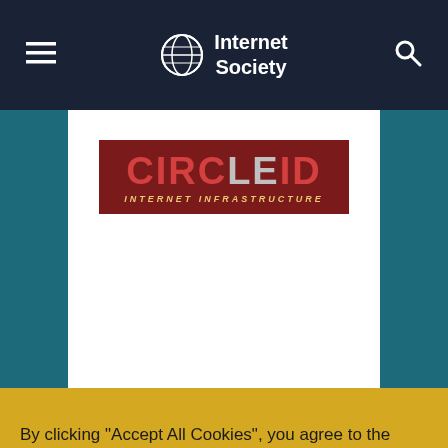Internet Society
[Figure (logo): CircleID Internet Infrastructure logo — red background with white stylized text and gold subtitle]
By clicking “Accept All Cookies”, you agree to the storing of cookies on your device to enhance site navigation, analyze site usage, and assist in our marketing efforts.
Cookies Settings
Reject Optional Cookies
Accept All Cookies